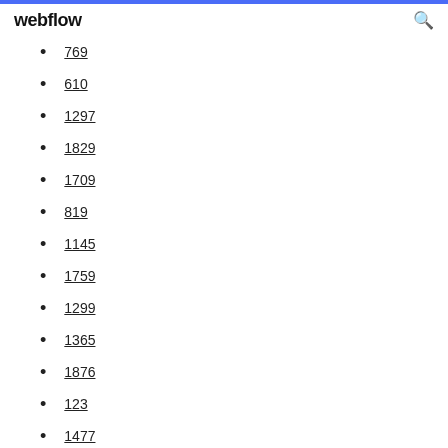webflow
769
610
1297
1829
1709
819
1145
1759
1299
1365
1876
123
1477